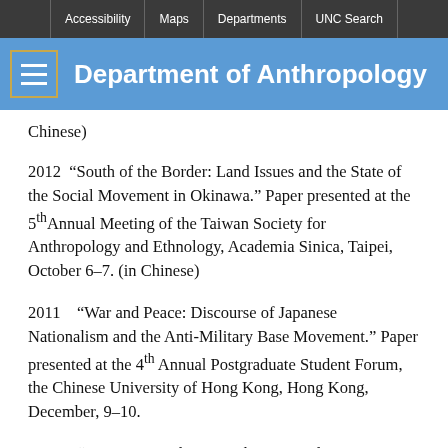Accessibility | Maps | Departments | UNC Search
Department of Anthropology
Chinese)
2012 “South of the Border: Land Issues and the State of the Social Movement in Okinawa.” Paper presented at the 5th Annual Meeting of the Taiwan Society for Anthropology and Ethnology, Academia Sinica, Taipei, October 6–7. (in Chinese)
2011 “War and Peace: Discourse of Japanese Nationalism and the Anti-Military Base Movement.” Paper presented at the 4th Annual Postgraduate Student Forum, the Chinese University of Hong Kong, Hong Kong, December, 9–10.
2011 “Resistance and Peace: The Anti-Military Base Social Movement in Okinawa and its Implications for